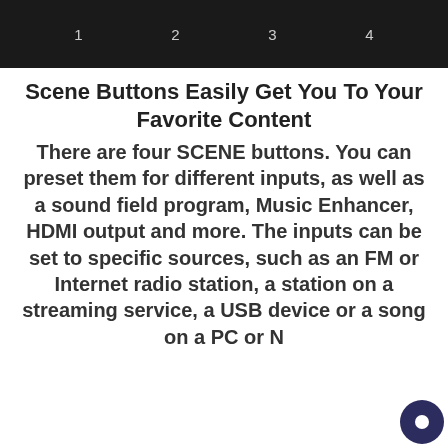[Figure (photo): Dark/black banner with four numbered buttons labeled 1, 2, 3, 4 in light gray text on dark background]
Scene Buttons Easily Get You To Your Favorite Content
There are four SCENE buttons. You can preset them for different inputs, as well as a sound field program, Music Enhancer, HDMI output and more. The inputs can be set to specific sources, such as an FM or Internet radio station, a station on a streaming service, a USB device or a song on a PC or N...